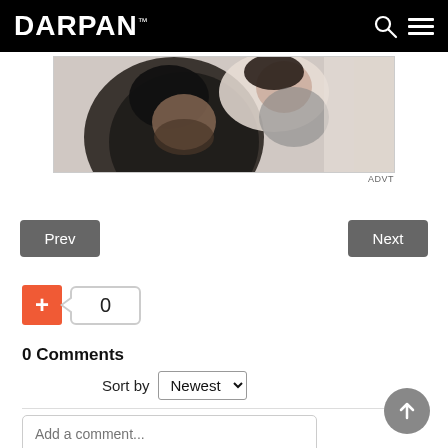DARPAN™
[Figure (photo): A man with a beard holding a laughing child, close-up lifestyle photo used as advertisement image]
ADVT
Prev
Next
+ 0
0 Comments
Sort by Newest
Add a comment...